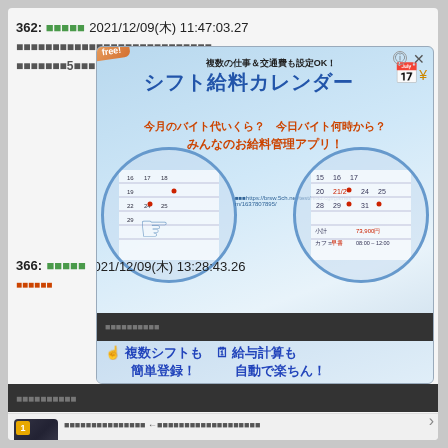362: ■■■■■ 2021/12/09(木) 11:47:03.27
■■■■■■■■■■■■■■■■■■■■■■■■■■■
■■■■■■■5■■■■■■■■■■
[Figure (screenshot): Advertisement banner for 'シフト給料カレンダー' (Shift Salary Calendar) app. Shows 'free' badge, Japanese text about managing part-time work salary, two circular calendar UI screenshots, URL https://brsw.5ch.net/test/read.cgi/gamesm/1637807895/]
366: ■■■■■ 2021/12/09(木) 13:28:43.26
■■■■■■今月のバイト代いくら？■■■今日バイト何時から？
みんなのお給料管理アプリ！
■■■■■■■■■■
■複数シフトも簡単登録！ ■給与計算も自動で楽ちん！
■■■■■■■■■■■■■■■■ ←■■■■■■■■■■■■■■■■■■